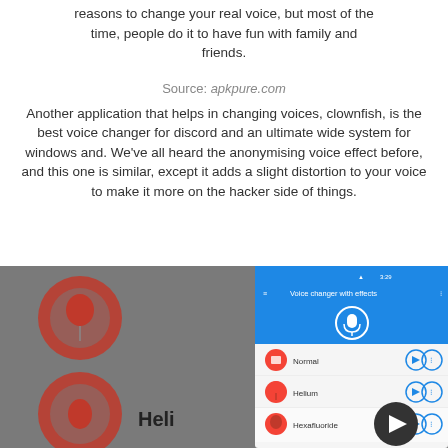reasons to change your real voice, but most of the time, people do it to have fun with family and friends.
Source: apkpure.com
Another application that helps in changing voices, clownfish, is the best voice changer for discord and an ultimate wide system for windows and. We've all heard the anonymising voice effect before, and this one is similar, except it adds a slight distortion to your voice to make it more on the hacker side of things.
[Figure (screenshot): Screenshot of a voice changer mobile app showing 'Voice changer with effects' interface with options Normal, Helium, and Hexafluoride, overlaid on a background showing the app's main grid view with red circular icons and 'Heli' text visible.]